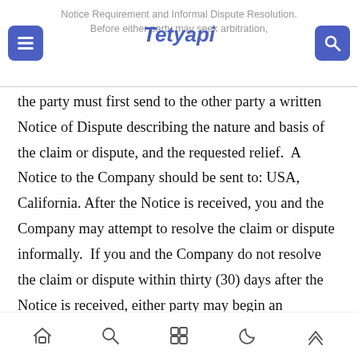Notice Requirement and Informal Dispute Resolution. Before either party may seek arbitration,
the party must first send to the other party a written Notice of Dispute describing the nature and basis of the claim or dispute, and the requested relief.  A Notice to the Company should be sent to: USA, California. After the Notice is received, you and the Company may attempt to resolve the claim or dispute informally.  If you and the Company do not resolve the claim or dispute within thirty (30) days after the Notice is received, either party may begin an arbitration proceeding.  The amount of any